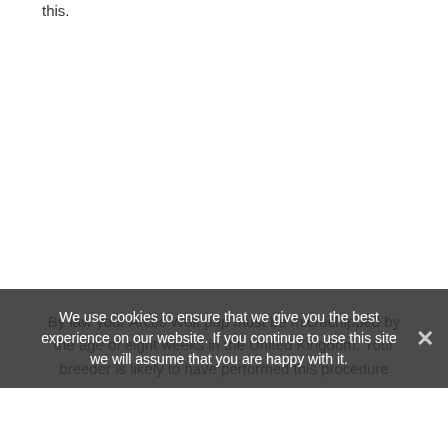this.
By law your Arctic Wolf pup must be microchipped by the age of eight weeks in the United Kingdom. Your breeder is likely to have performed this procedure
We use cookies to ensure that we give you the best experience on our website. If you continue to use this site we will assume that you are happy with it.